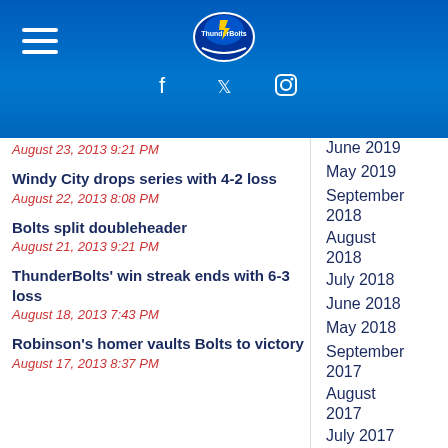[Figure (logo): ThunderBolts baseball team logo centered at top of blue header]
ThunderBolts website header with hamburger menu, logo, and social media icons (Facebook, Twitter, Instagram)
August 23, 2013 9:21 PM
Windy City drops series with 4-2 loss
August 22, 2013 8:08 PM
Bolts split doubleheader
August 21, 2013 9:21 PM
ThunderBolts' win streak ends with 6-3 loss
August 18, 2013 7:43 PM
Robinson's homer vaults Bolts to victory
August 17, 2013 8:37 PM
June 2019
May 2019
September 2018
August 2018
July 2018
June 2018
May 2018
September 2017
August 2017
July 2017
June 2017
May 2017